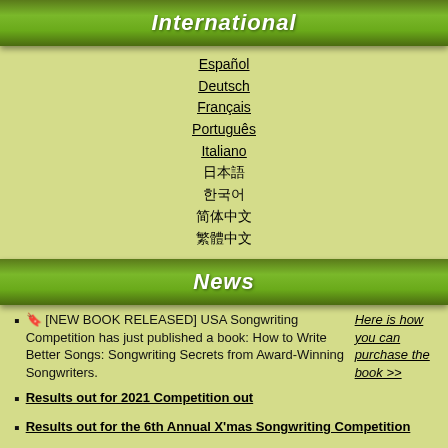International
Español
Deutsch
Français
Português
Italiano
日本語
한국어
简体中文
繁體中文
News
🔖 [NEW BOOK RELEASED] USA Songwriting Competition has just published a book: How to Write Better Songs: Songwriting Secrets from Award-Winning Songwriters. Here is how you can purchase the book >>
Results out for 2021 Competition out
Results out for the 6th Annual X'mas Songwriting Competition
2017 Top Winner has her song cut by Kelly Clarkson
Top winning songs of 2015 & 2014 Competition was placed in Box office Hit movie